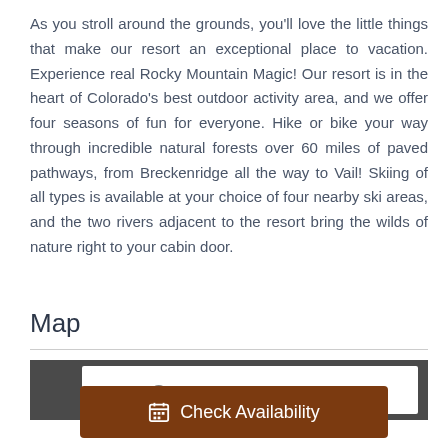As you stroll around the grounds, you'll love the little things that make our resort an exceptional place to vacation. Experience real Rocky Mountain Magic! Our resort is in the heart of Colorado's best outdoor activity area, and we offer four seasons of fun for everyone. Hike or bike your way through incredible natural forests over 60 miles of paved pathways, from Breckenridge all the way to Vail! Skiing of all types is available at your choice of four nearby ski areas, and the two rivers adjacent to the resort bring the wilds of nature right to your cabin door.
Map
[Figure (map): Partial map image showing a dark background with a white inset area and partial text visible]